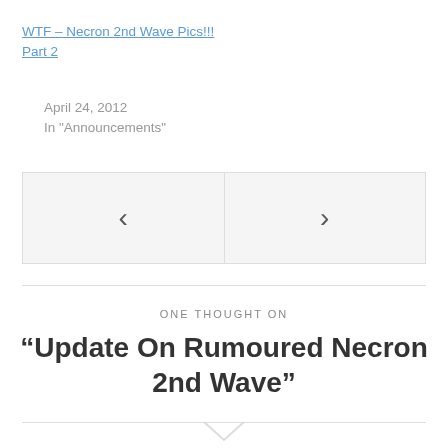WTF – Necron 2nd Wave Pics!!! Part 2
April 24, 2012
In "Announcements"
[Figure (other): Navigation box with left arrow and right arrow buttons side by side]
ONE THOUGHT ON
“Update On Rumoured Necron 2nd Wave”